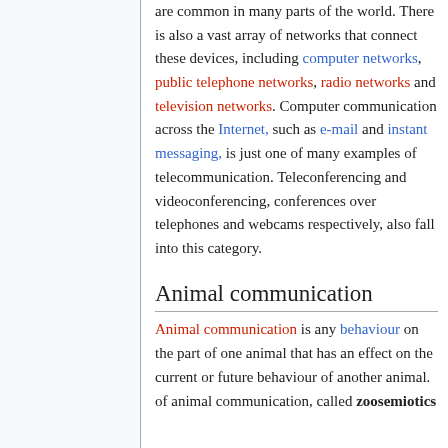are common in many parts of the world. There is also a vast array of networks that connect these devices, including computer networks, public telephone networks, radio networks and television networks. Computer communication across the Internet, such as e-mail and instant messaging, is just one of many examples of telecommunication. Teleconferencing and videoconferencing, conferences over telephones and webcams respectively, also fall into this category.
Animal communication
Animal communication is any behaviour on the part of one animal that has an effect on the current or future behaviour of another animal. of animal communication, called zoosemiotics